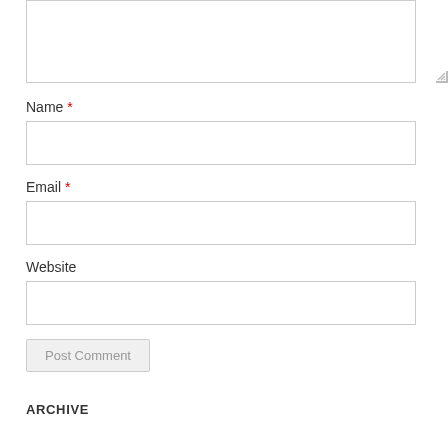[Figure (screenshot): A textarea form field with a resize handle in the bottom-right corner, partially visible at the top of the page.]
Name *
[Figure (screenshot): A text input field for Name.]
Email *
[Figure (screenshot): A text input field for Email.]
Website
[Figure (screenshot): A text input field for Website.]
[Figure (screenshot): A 'Post Comment' button with gray border and light background.]
ARCHIVE